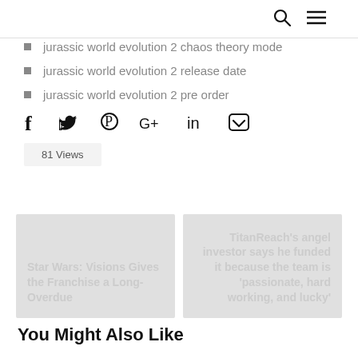Search | Menu
jurassic world evolution 2 chaos theory mode
jurassic world evolution 2 release date
jurassic world evolution 2 pre order
[Figure (infographic): Social share icons: Facebook, Twitter, Pinterest, Google+, LinkedIn, Pocket]
81 Views
[Figure (infographic): Related article card: Star Wars: Visions Gives the Franchise a Long-Overdue]
[Figure (infographic): Related article card: TitanReach's angel investor says he funded it because the team is 'passionate, hard working, and lucky']
You Might Also Like